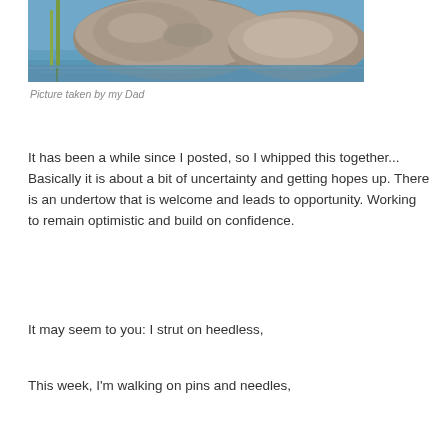[Figure (photo): Photograph of large rocks partially submerged in blue water with green reeds/grass visible on the left side, taken from above water level.]
Picture taken by my Dad
It has been a while since I posted, so I whipped this together...  Basically it is about a bit of uncertainty and getting hopes up.  There is an undertow that is welcome and leads to opportunity.  Working to remain optimistic and build on confidence.
It may seem to you:  I strut on heedless,
This week, I'm walking on pins and needles,